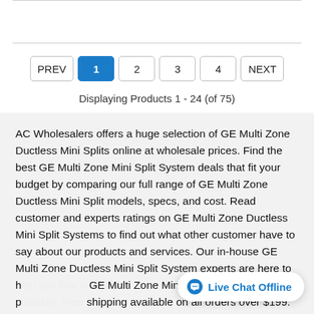Displaying Products 1 - 24 (of 75)
AC Wholesalers offers a huge selection of GE Multi Zone Ductless Mini Splits online at wholesale prices. Find the best GE Multi Zone Mini Split System deals that fit your budget by comparing our full range of GE Multi Zone Ductless Mini Split models, specs, and cost. Read customer and experts ratings on GE Multi Zone Ductless Mini Split Systems to find out what other customer have to say about our products and services. Our in-house GE Multi Zone Ductless Mini Split System experts are here to help you buy a GE Multi Zone Mini Split at the lowest price possible. Free shipping available on all orders over $199. For your GE Multi Zone